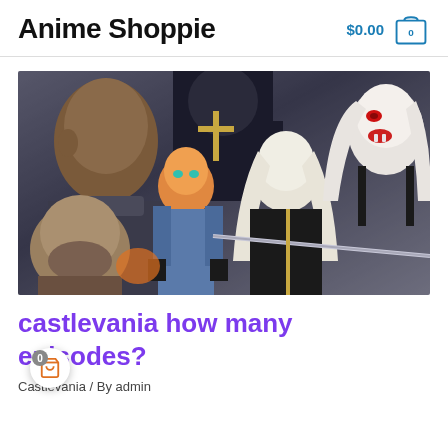Anime Shoppie  $0.00  0
[Figure (illustration): Castlevania anime artwork showing multiple characters including a bald dark-skinned figure, a character in black armor, a blue-clad fighter with orange hair, a pale white-haired central character in black, a vampire woman with white hair and red eyes, and a bearded man in the foreground.]
castlevania how many episodes?
Castlevania / By admin